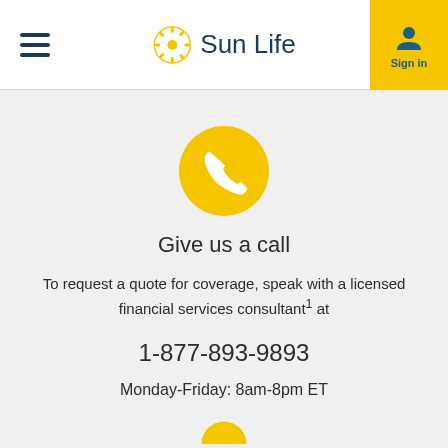Sun Life — Sign in
[Figure (illustration): Golden yellow circle with white phone handset icon]
Give us a call
To request a quote for coverage, speak with a licensed financial services consultant¹ at
1-877-893-9893
Monday-Friday: 8am-8pm ET